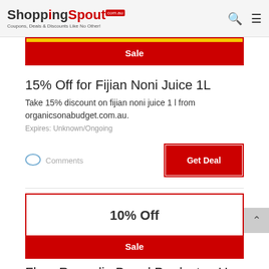ShoppingSpout.com.au — Coupons, Deals & Discounts Like No Other!
Sale
15% Off for Fijian Noni Juice 1L
Take 15% discount on fijian noni juice 1 l from organicsonabudget.com.au.
Expires: Unknown/Ongoing
Comments
Get Deal
10% Off
Sale
Flora Remedia Brand Products - Up to 10% Off